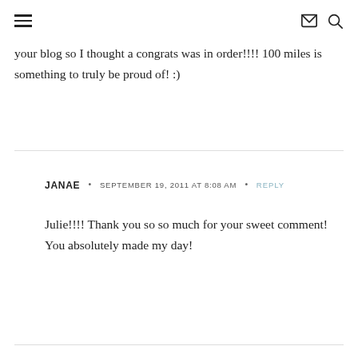≡  ✉ 🔍
your blog so I thought a congrats was in order!!!! 100 miles is something to truly be proud of! :)
JANAE • SEPTEMBER 19, 2011 AT 8:08 AM • REPLY
Julie!!!! Thank you so so much for your sweet comment! You absolutely made my day!